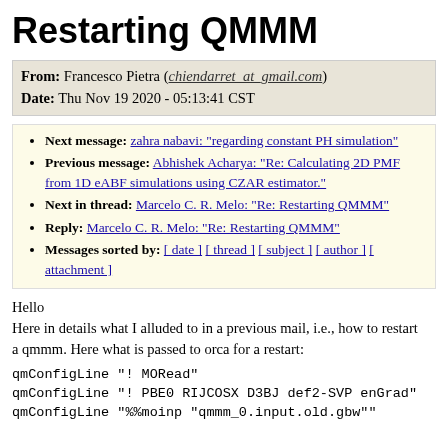Restarting QMMM
From: Francesco Pietra (chiendarret_at_gmail.com)
Date: Thu Nov 19 2020 - 05:13:41 CST
Next message: zahra nabavi: "regarding constant PH simulation"
Previous message: Abhishek Acharya: "Re: Calculating 2D PMF from 1D eABF simulations using CZAR estimator."
Next in thread: Marcelo C. R. Melo: "Re: Restarting QMMM"
Reply: Marcelo C. R. Melo: "Re: Restarting QMMM"
Messages sorted by: [ date ] [ thread ] [ subject ] [ author ] [ attachment ]
Hello
Here in details what I alluded to in a previous mail, i.e., how to restart
a qmmm. Here what is passed to orca for a restart:
qmConfigLine "! MORead"
qmConfigLine "! PBE0 RIJCOSX D3BJ def2-SVP enGrad"
qmConfigLine "%%moinp "qmmm_0.input.old.gbw""